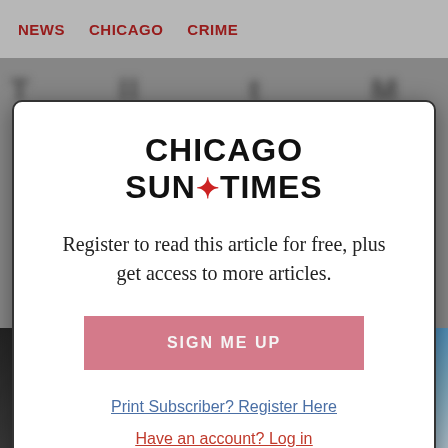NEWS  CHICAGO  CRIME
[Figure (screenshot): Background photo of police vehicle with text WE SERVE AND PROTECT visible on the side, partially visible at the bottom of the page behind a modal dialog]
CHICAGO SUN*TIMES
Register to read this article for free, plus get access to more articles.
SIGN ME UP
Print Subscriber? Register Here
Have an account? Log in